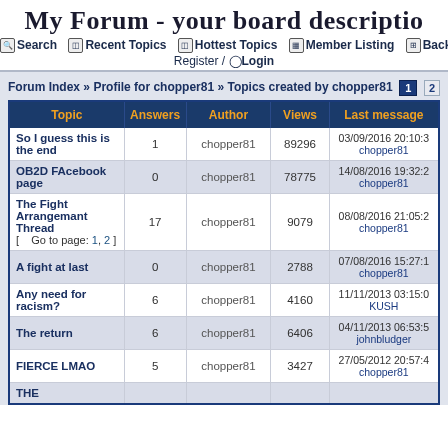My Forum - your board description
Search | Recent Topics | Hottest Topics | Member Listing | Back | Register / Login
Forum Index » Profile for chopper81 » Topics created by chopper81
| Topic | Answers | Author | Views | Last message |
| --- | --- | --- | --- | --- |
| So I guess this is the end | 1 | chopper81 | 89296 | 03/09/2016 20:10:3
chopper81 |
| OB2D FAcebook page | 0 | chopper81 | 78775 | 14/08/2016 19:32:2
chopper81 |
| The Fight Arrangemant Thread
[ Go to page: 1, 2 ] | 17 | chopper81 | 9079 | 08/08/2016 21:05:2
chopper81 |
| A fight at last | 0 | chopper81 | 2788 | 07/08/2016 15:27:1
chopper81 |
| Any need for racism? | 6 | chopper81 | 4160 | 11/11/2013 03:15:0
KUSH |
| The return | 6 | chopper81 | 6406 | 04/11/2013 06:53:5
johnbludger |
| FIERCE LMAO | 5 | chopper81 | 3427 | 27/05/2012 20:57:4
chopper81 |
| THE |  |  |  |  |